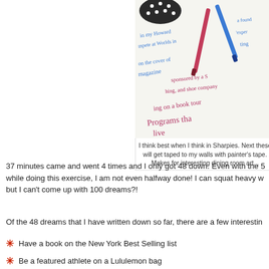[Figure (photo): Photo of handwritten notes on paper with Sharpie markers, showing cursive writing in blue and red ink with words like 'on the cover of a magazine', 'sponsored by a shoe company', 'on a book tour', 'Programs that live'. A polka-dot mug and markers are visible.]
I think best when I think in Sharpies. Next these will get taped to my walls with painter's tape. Makes for interesting dining room art...
37 minutes came and went 4 times and I only got 48 down. Even with the 5 while doing this exercise, I am not even halfway done! I can squat heavy w but I can't come up with 100 dreams?!
Of the 48 dreams that I have written down so far, there are a few interestin
Have a book on the New York Best Selling list
Be a featured athlete on a Lululemon bag